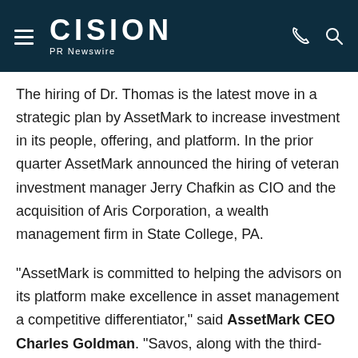CISION PR Newswire
The hiring of Dr. Thomas is the latest move in a strategic plan by AssetMark to increase investment in its people, offering, and platform. In the prior quarter AssetMark announced the hiring of veteran investment manager Jerry Chafkin as CIO and the acquisition of Aris Corporation, a wealth management firm in State College, PA.
"AssetMark is committed to helping the advisors on its platform make excellence in asset management a competitive differentiator," said AssetMark CEO Charles Goldman. "Savos, along with the third-party strategists available on our platform, plays a critical role in this mission."